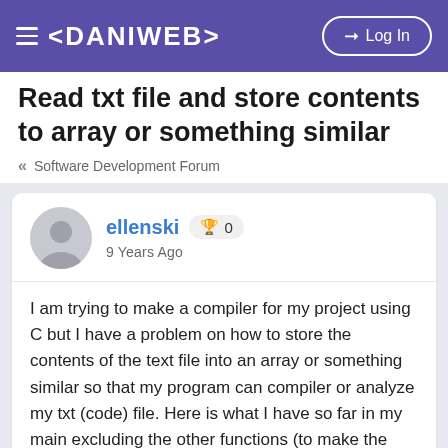< DANIWEB >  Log In
Read txt file and store contents to array or something similar
« Software Development Forum
ellenski  🏆 0
9 Years Ago
I am trying to make a compiler for my project using C but I have a problem on how to store the contents of the text file into an array or something similar so that my program can compiler or analyze my txt (code) file. Here is what I have so far in my main excluding the other functions (to make the code shorter here):
#include <stdio.h>